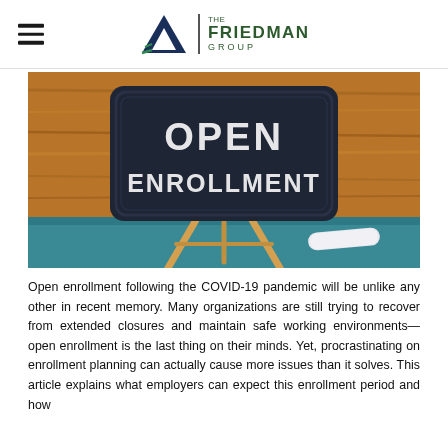The Friedman Group
[Figure (photo): A chalkboard sign on a wooden easel reading 'OPEN ENROLLMENT' in white chalk letters, placed on a teal/blue surface with a wooden background. A piece of chalk rests in front of the sign.]
Open enrollment following the COVID-19 pandemic will be unlike any other in recent memory. Many organizations are still trying to recover from extended closures and maintain safe working environments—open enrollment is the last thing on their minds. Yet, procrastinating on enrollment planning can actually cause more issues than it solves. This article explains what employers can expect this enrollment period and how